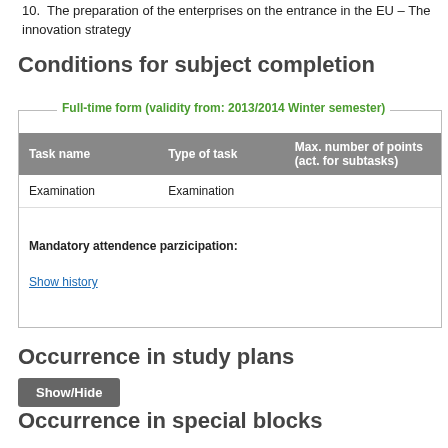10. The preparation of the enterprises on the entrance in the EU – The innovation strategy
Conditions for subject completion
Full-time form (validity from: 2013/2014 Winter semester)
| Task name | Type of task | Max. number of points (act. for subtasks) | Min. number… |
| --- | --- | --- | --- |
| Examination | Examination |  |  |
Mandatory attendence parzicipation:
Show history
Occurrence in study plans
Show/Hide
Occurrence in special blocks
Show/Hide